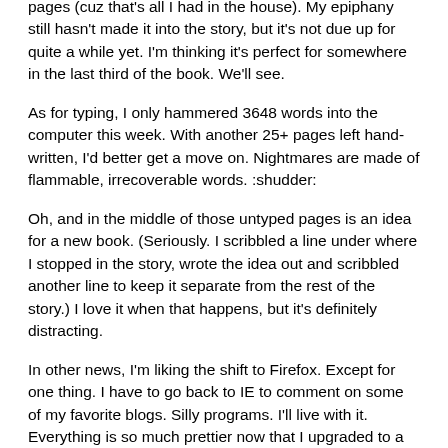pages (cuz that's all I had in the house).  My epiphany still hasn't made it into the story, but it's not due up for quite a while yet.  I'm thinking it's perfect for somewhere in the last third of the book.  We'll see.
As for typing, I only hammered 3648 words into the computer this week.  With another 25+ pages left hand-written, I'd better get a move on.  Nightmares are made of flammable, irrecoverable words.  :shudder:
Oh, and in the middle of those untyped pages is an idea for a new book.  (Seriously.  I scribbled a line under where I stopped in the story, wrote the idea out and scribbled another line to keep it separate from the rest of the story.)  I love it when that happens, but it's definitely distracting.
In other news, I'm liking the shift to Firefox.  Except for one thing.  I have to go back to IE to comment on some of my favorite blogs.  Silly programs.  I'll live with it.  Everything is so much prettier now that I upgraded to a compatible program.  Even blogger has new functions I could never get to with IE6.  Of course, Hubby came home while I was in the middle of wrestling with Firefox and told me to order a new